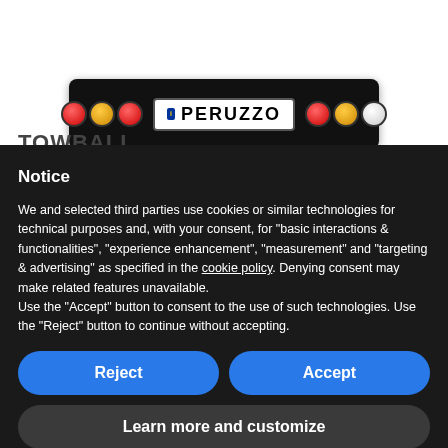[Figure (photo): Peruzzo branded rear bike carrier / towball adapter bar with taillights and a license plate reading PERUZZO on a white background]
TOWBALL
Notice
We and selected third parties use cookies or similar technologies for technical purposes and, with your consent, for “basic interactions & functionalities”, “experience enhancement”, “measurement” and “targeting & advertising” as specified in the cookie policy. Denying consent may make related features unavailable.
Use the “Accept” button to consent to the use of such technologies. Use the “Reject” button to continue without accepting.
Reject
Accept
Learn more and customize